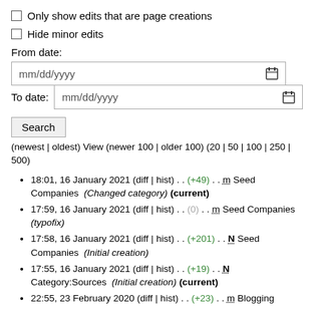Only show edits that are page creations
Hide minor edits
From date:
mm/dd/yyyy (date input)
To date: mm/dd/yyyy (date input)
Search (button)
(newest | oldest) View (newer 100 | older 100) (20 | 50 | 100 | 250 | 500)
18:01, 16 January 2021 (diff | hist) . . (+49) . . m Seed Companies (Changed category) (current)
17:59, 16 January 2021 (diff | hist) . . (0) . . m Seed Companies (typofix)
17:58, 16 January 2021 (diff | hist) . . (+201) . . N Seed Companies (Initial creation)
17:55, 16 January 2021 (diff | hist) . . (+19) . . N Category:Sources (Initial creation) (current)
22:55, 23 February 2020 (diff | hist) . . (+23) . . m Blogging